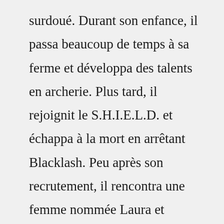surdoué. Durant son enfance, il passa beaucoup de temps à sa ferme et développa des talents en archerie. Plus tard, il rejoignit le S.H.I.E.L.D. et échappa à la mort en arrêtant Blacklash. Peu après son recrutement, il rencontra une femme nommée Laura et l'épousa pour ensuite avoir deux enfants avec elle ... Jeremy Lee Renner (born January 7, 1971) is an American actor. He began his career by